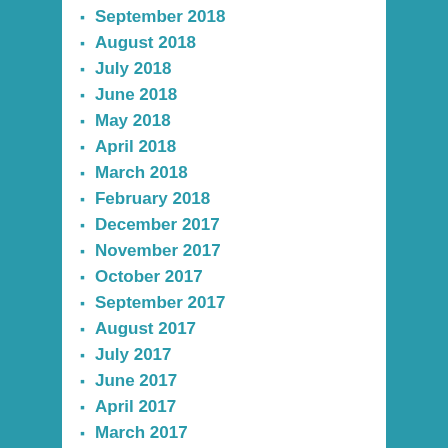September 2018
August 2018
July 2018
June 2018
May 2018
April 2018
March 2018
February 2018
December 2017
November 2017
October 2017
September 2017
August 2017
July 2017
June 2017
April 2017
March 2017
February 2017
January 2017
December 2016
November 2016
October 2016